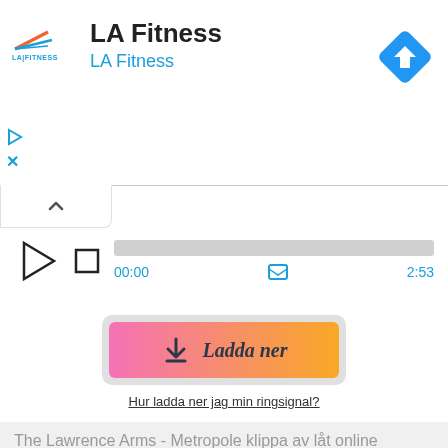[Figure (screenshot): LA Fitness advertisement banner with logo, text 'LA Fitness', blue navigation turn icon, and small play/close controls]
[Figure (screenshot): Audio player with play triangle, stop square, grey progress bar, time 00:00 and 2:53, share icon]
[Figure (screenshot): Download button with pink-to-yellow gradient and download arrow icon, text 'Ladda ner']
Hur ladda ner jag min ringsignal?
The Lawrence Arms - Metropole klippa av låt online